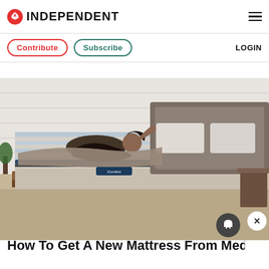INDEPENDENT
Contribute  Subscribe  LOGIN
[Figure (photo): Woman lying on an adjustable mattress/bed in a bedroom setting. The mattress has a navy and grey design with 'iComfort' branding visible. The bed frame is wooden, and the room has a white brick wall background with a plant and bedside table.]
How To Get A New Mattress From Medical